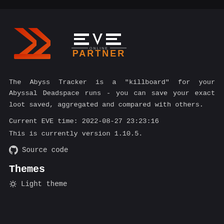[Figure (logo): Abyss Tracker logo (red angular arrow) alongside EVE Online Partner logo in white and orange]
The Abyss Tracker is a "killboard" for your Abyssal Deadspace runs - you can save your exact loot saved, aggregated and compared with others.
Current EVE time: 2022-08-27 23:23:16
This is currently version 1.10.5.
Source code
Themes
Light theme